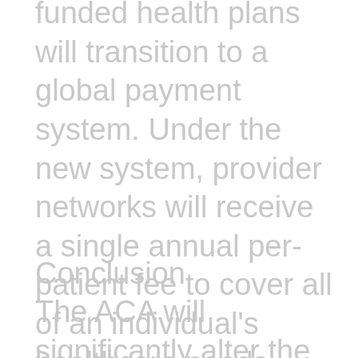funded health plans will transition to a global payment system. Under the new system, provider networks will receive a single annual per-patient fee to cover all of an individual's healthcare needs, with unused funds dictating profit. Illustrating the complexities unique to behavioral health, the Massachusetts law creates a commission to ensure that behavioral health providers are included in the new payment system. Observing these changes may offer clues about opportunities and barriers to come.
Conclusion
The ACA will significantly alter the behavioral health landscape, affecting clients, providers, and payers for years to come. Although it is too early